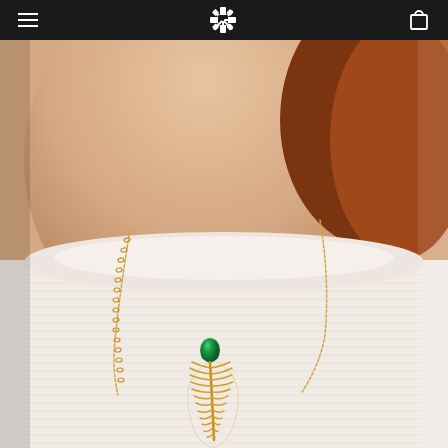Navigation bar with hamburger menu, cross logo, and cart icon
[Figure (photo): Close-up photo of a woman wearing a white ribbed turtleneck top with a gold feather pendant necklace featuring an emerald green gemstone at the top of the pendant, on a gold chain. The model has auburn/red hair.]